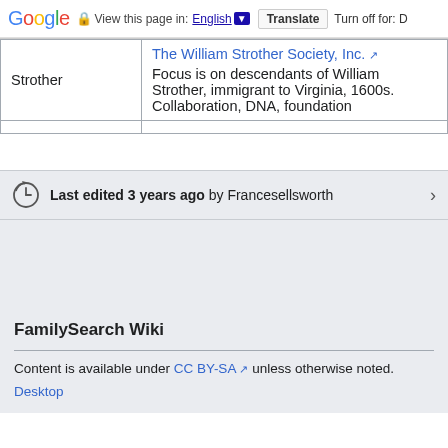Google — View this page in: English [▼] Translate | Turn off for: D
|  |  |
| --- | --- |
| Strother | The William Strother Society, Inc. ↗
Focus is on descendants of William Strother, immigrant to Virginia, 1600s. Collaboration, DNA, foundation |
|  |  |
Last edited 3 years ago by Francesellsworth
FamilySearch Wiki
Content is available under CC BY-SA ↗ unless otherwise noted.
Desktop